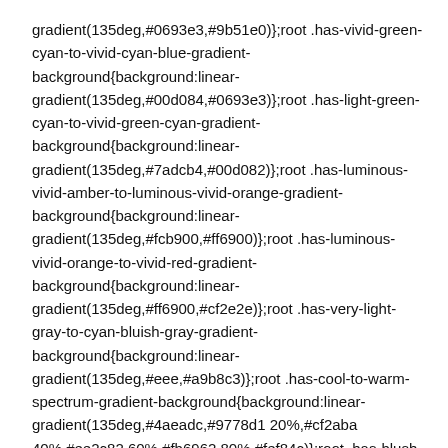gradient(135deg,#0693e3,#9b51e0)};root .has-vivid-green-cyan-to-vivid-cyan-blue-gradient-background{background:linear-gradient(135deg,#00d084,#0693e3)};root .has-light-green-cyan-to-vivid-green-cyan-gradient-background{background:linear-gradient(135deg,#7adcb4,#00d082)};root .has-luminous-vivid-amber-to-luminous-vivid-orange-gradient-background{background:linear-gradient(135deg,#fcb900,#ff6900)};root .has-luminous-vivid-orange-to-vivid-red-gradient-background{background:linear-gradient(135deg,#ff6900,#cf2e2e)};root .has-very-light-gray-to-cyan-bluish-gray-gradient-background{background:linear-gradient(135deg,#eee,#a9b8c3)};root .has-cool-to-warm-spectrum-gradient-background{background:linear-gradient(135deg,#4aeadc,#9778d1 20%,#cf2aba 40%,#ee2c82 60%,#fb6962 80%,#fef84c)};root .has-blush-light-purple-gradient-background{background:linear-